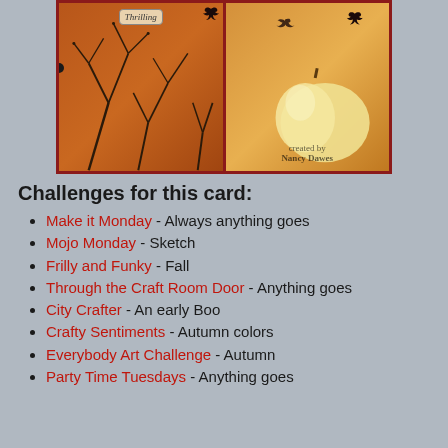[Figure (photo): A Halloween-themed handmade card shown open, featuring autumn orange and brown tones with bare tree branch designs on the left panel and a large cream-colored pumpkin on the right panel. A label with cursive text appears on the left panel. A watermark reads 'created by Nancy Dawes' at the bottom center.]
Challenges for this card:
Make it Monday - Always anything goes
Mojo Monday - Sketch
Frilly and Funky - Fall
Through the Craft Room Door - Anything goes
City Crafter - An early Boo
Crafty Sentiments - Autumn colors
Everybody Art Challenge - Autumn
Party Time Tuesdays - Anything goes